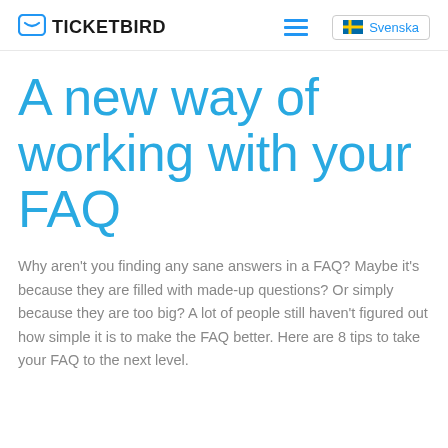TICKETBIRD  Svenska
A new way of working with your FAQ
Why aren't you finding any sane answers in a FAQ? Maybe it's because they are filled with made-up questions? Or simply because they are too big? A lot of people still haven't figured out how simple it is to make the FAQ better. Here are 8 tips to take your FAQ to the next level.